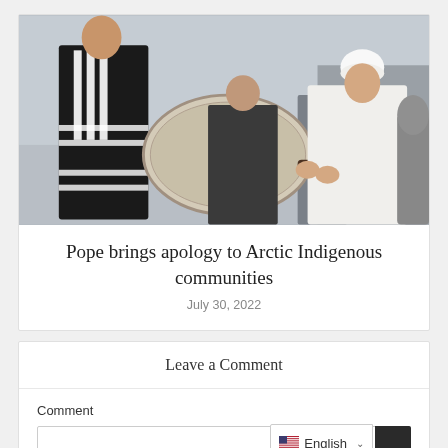[Figure (photo): Photo of Pope Francis seated in white vestments and white zucchetto, receiving or holding a large ceremonial drum/tambourine from a person wearing traditional black and white Indigenous Arctic garments. A third person in dark clothing is visible in the background. Scene appears to be outdoors or in a large open venue.]
Pope brings apology to Arctic Indigenous communities
July 30, 2022
Leave a Comment
Comment